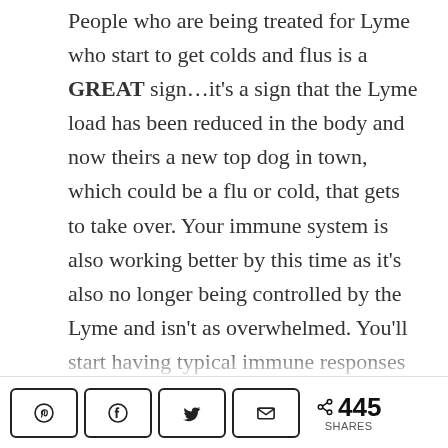People who are being treated for Lyme who start to get colds and flus is a GREAT sign...it's a sign that the Lyme load has been reduced in the body and now theirs a new top dog in town, which could be a flu or cold, that gets to take over. Your immune system is also working better by this time as it's also no longer being controlled by the Lyme and isn't as overwhelmed. You'll start having typical immune responses now like fever, chills, sneezing, etc. However it's more likely that it would be the other coinfection's that may manifest themselves before the common colds and flus, but it likely the same sort of situation.
445 SHARES